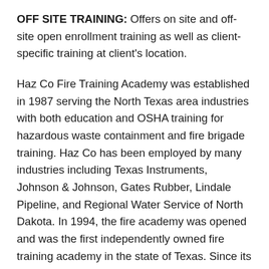OFF SITE TRAINING: Offers on site and off-site open enrollment training as well as client-specific training at client's location.
Haz Co Fire Training Academy was established in 1987 serving the North Texas area industries with both education and OSHA training for hazardous waste containment and fire brigade training. Haz Co has been employed by many industries including Texas Instruments, Johnson & Johnson, Gates Rubber, Lindale Pipeline, and Regional Water Service of North Dakota. In 1994, the fire academy was opened and was the first independently owned fire training academy in the state of Texas. Since its opening, Haz Co has trained over 1400 students with many of our students working all over the state of Texas in city fire departments. Several of our lead instructors are adjunct instructors for Texas A&M's